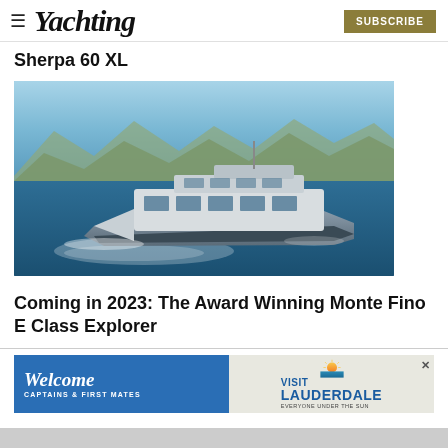Yachting — SUBSCRIBE
Sherpa 60 XL
[Figure (photo): A large grey motor yacht underway on blue water with mountains in the background]
Coming in 2023: The Award Winning Monte Fino E Class Explorer
[Figure (infographic): Advertisement banner: Welcome Captains & First Mates — Visit Lauderdale Everyone Under The Sun]